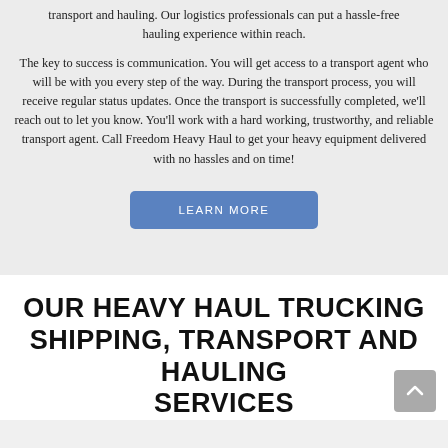transport and hauling. Our logistics professionals can put a hassle-free hauling experience within reach.
The key to success is communication. You will get access to a transport agent who will be with you every step of the way. During the transport process, you will receive regular status updates. Once the transport is successfully completed, we'll reach out to let you know. You'll work with a hard working, trustworthy, and reliable transport agent. Call Freedom Heavy Haul to get your heavy equipment delivered with no hassles and on time!
[Figure (other): LEARN MORE button in blue/steel-blue color]
OUR HEAVY HAUL TRUCKING SHIPPING, TRANSPORT AND HAULING SERVICES